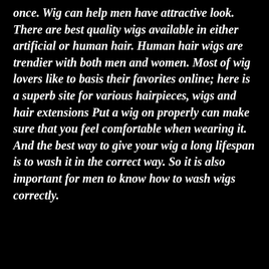once. Wig can help men have attractive look. There are best quality wigs available in either artificial or human hair. Human hair wigs are trendier with both men and women. Most of wig lovers like to basis their favorites online; here is a superb site for various hairpieces, wigs and hair extensions Put a wig on properly can make sure that you feel comfortable when wearing it. And the best way to give your wig a long lifespan is to wash it in the correct way. So it is also important for men to know how to wash wigs correctly.